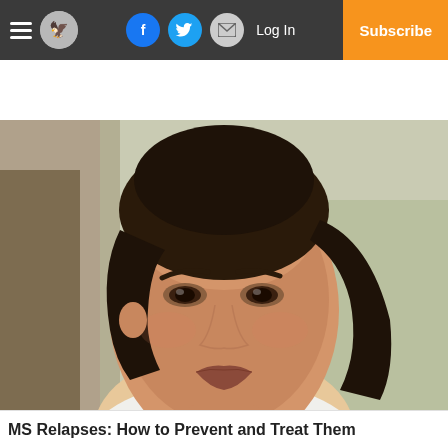Navigation bar with hamburger menu, logo, Facebook, Twitter, Email share buttons, Log In link, and Subscribe button
[Figure (photo): Close-up portrait of an Asian woman with dark hair pulled back, looking upward with a contemplative expression, outdoors with blurred trees in background]
MS Relapses: How to Prevent and Treat Them